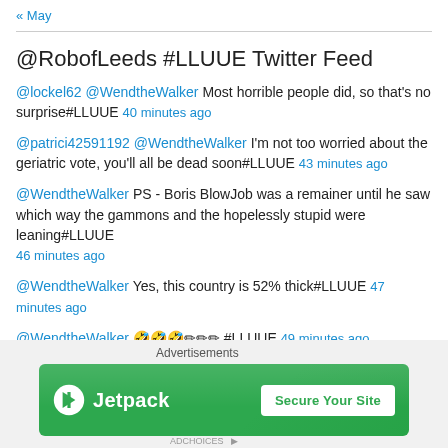« May
@RobofLeeds #LLUUE Twitter Feed
@lockel62 @WendtheWalker Most horrible people did, so that's no surprise#LLUUE 40 minutes ago
@patrici42591192 @WendtheWalker I'm not too worried about the geriatric vote, you'll all be dead soon#LLUUE 43 minutes ago
@WendtheWalker PS - Boris BlowJob was a remainer until he saw which way the gammons and the hopelessly stupid were leaning#LLUUE 46 minutes ago
@WendtheWalker Yes, this country is 52% thick#LLUUE 47 minutes ago
@WendtheWalker 🤣🤣🤣✏✏✏ #LLUUE 49 minutes ago
[Figure (infographic): Jetpack advertisement banner with green background, Jetpack logo and 'Secure Your Site' button]